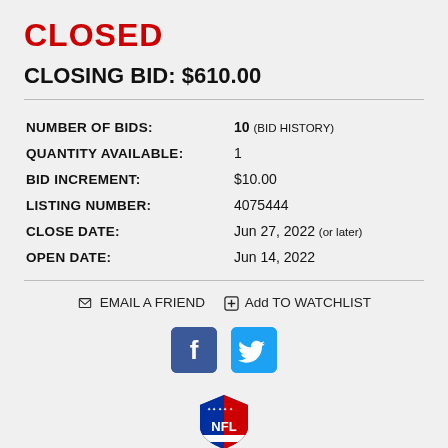CLOSED
CLOSING BID: $610.00
| Field | Value |
| --- | --- |
| NUMBER OF BIDS: | 10 (BID HISTORY) |
| QUANTITY AVAILABLE: | 1 |
| BID INCREMENT: | $10.00 |
| LISTING NUMBER: | 4075444 |
| CLOSE DATE: | Jun 27, 2022 (or later) |
| OPEN DATE: | Jun 14, 2022 |
EMAIL A FRIEND   Add TO WATCHLIST
[Figure (logo): NFL shield logo with NFL text]
CRUCIAL